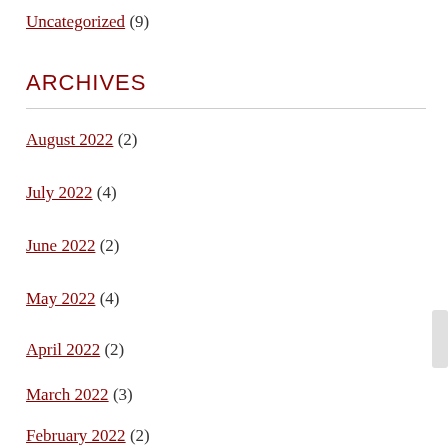Uncategorized (9)
ARCHIVES
August 2022 (2)
July 2022 (4)
June 2022 (2)
May 2022 (4)
April 2022 (2)
March 2022 (3)
February 2022 (2)
January 2022 (3)